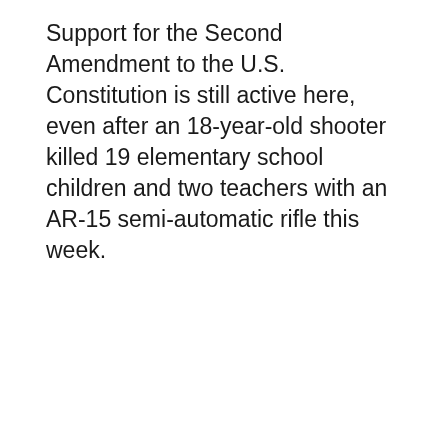Support for the Second Amendment to the U.S. Constitution is still active here, even after an 18-year-old shooter killed 19 elementary school children and two teachers with an AR-15 semi-automatic rifle this week.